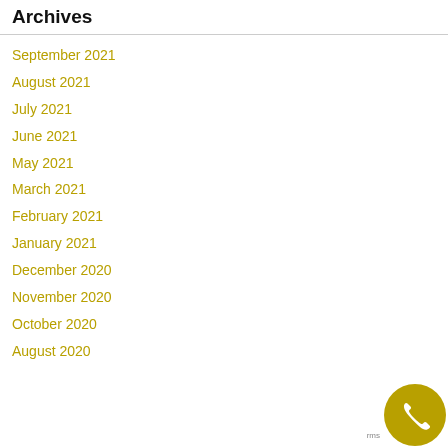Archives
September 2021
August 2021
July 2021
June 2021
May 2021
March 2021
February 2021
January 2021
December 2020
November 2020
October 2020
August 2020